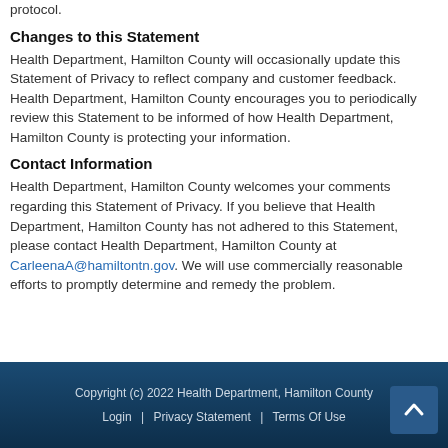protocol.
Changes to this Statement
Health Department, Hamilton County will occasionally update this Statement of Privacy to reflect company and customer feedback. Health Department, Hamilton County encourages you to periodically review this Statement to be informed of how Health Department, Hamilton County is protecting your information.
Contact Information
Health Department, Hamilton County welcomes your comments regarding this Statement of Privacy. If you believe that Health Department, Hamilton County has not adhered to this Statement, please contact Health Department, Hamilton County at CarleenaA@hamiltontn.gov. We will use commercially reasonable efforts to promptly determine and remedy the problem.
Copyright (c) 2022 Health Department, Hamilton County | Login | Privacy Statement | Terms Of Use